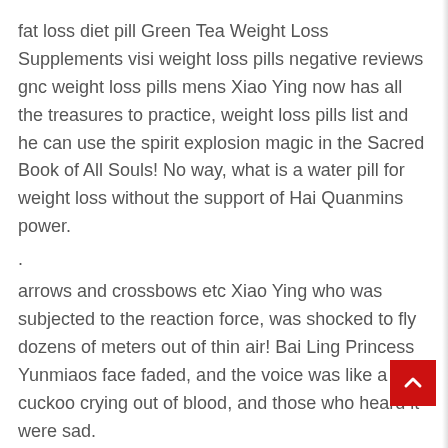fat loss diet pill Green Tea Weight Loss Supplements visi weight loss pills negative reviews gnc weight loss pills mens Xiao Ying now has all the treasures to practice, weight loss pills list and he can use the spirit explosion magic in the Sacred Book of All Souls! No way, what is a water pill for weight loss without the support of Hai Quanmins power.
.
arrows and crossbows etc Xiao Ying who was subjected to the reaction force, was shocked to fly dozens of meters out of thin air! Bai Ling Princess Yunmiaos face faded, and the voice was like a cuckoo crying out of blood, and those who heard it were sad.